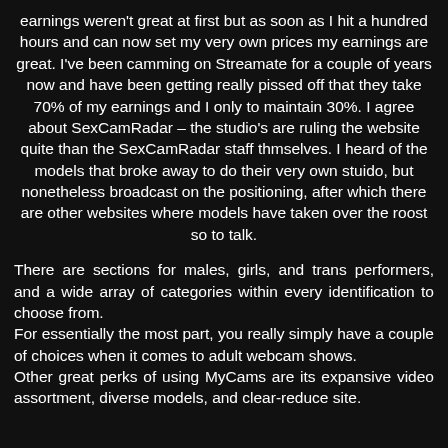earnings weren't great at first but as soon as I hit a hundred hours and can now set my very own prices my earnings are great. I've been camming on Streamate for a couple of years now and have been getting really pissed off that they take 70% of my earnings and I only to maintain 30%. I agree about SexCamRadar – the studio's are ruling the website quite than the SexCamRadar staff thmselves. I heard of the models that broke away to do their very own stuido, but nonetheless broadcast on the positioning, after which there are other websites where models have taken over the roost so to talk.
There are sections for males, girls, and trans performers, and a wide array of categories within every identification to choose from. For essentially the most part, you really simply have a couple of choices when it comes to adult webcam shows. Other great perks of using MyCams are its expansive video assortment, diverse models, and clear-reduce site.